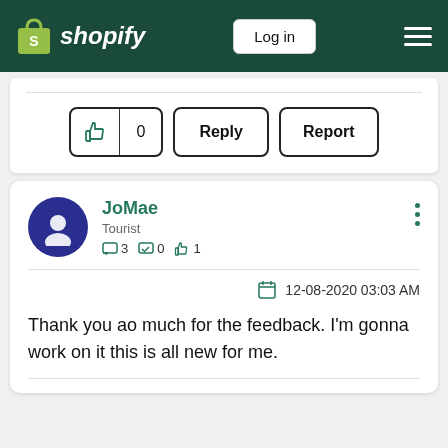Shopify — Log in
[Figure (screenshot): Like button with thumbs up icon and count 0, Reply button, and Report button]
JoMae
Tourist
3  0  1
12-08-2020 03:03 AM
Thank you ao much for the feedback. I'm gonna work on it this is all new for me.